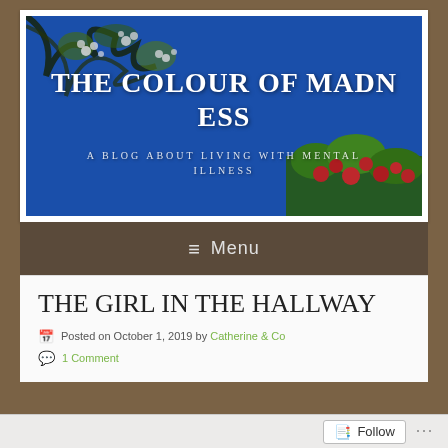[Figure (illustration): Blog header banner with blue sky, tree branches with white blossoms, red flowers at bottom right, and white text overlay reading 'THE COLOUR OF MADNESS' with subtitle 'A BLOG ABOUT LIVING WITH MENTAL ILLNESS']
≡  Menu
THE GIRL IN THE HALLWAY
Posted on October 1, 2019 by Catherine & Co
1 Comment